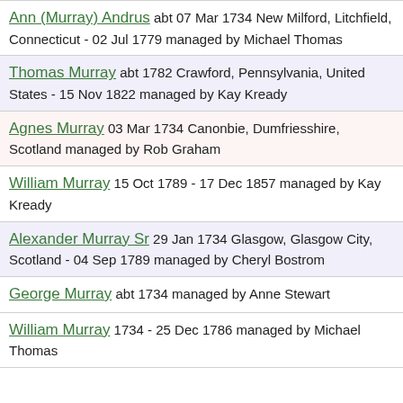Ann (Murray) Andrus abt 07 Mar 1734 New Milford, Litchfield, Connecticut - 02 Jul 1779 managed by Michael Thomas
Thomas Murray abt 1782 Crawford, Pennsylvania, United States - 15 Nov 1822 managed by Kay Kready
Agnes Murray 03 Mar 1734 Canonbie, Dumfriesshire, Scotland managed by Rob Graham
William Murray 15 Oct 1789 - 17 Dec 1857 managed by Kay Kready
Alexander Murray Sr 29 Jan 1734 Glasgow, Glasgow City, Scotland - 04 Sep 1789 managed by Cheryl Bostrom
George Murray abt 1734 managed by Anne Stewart
William Murray 1734 - 25 Dec 1786 managed by Michael Thomas